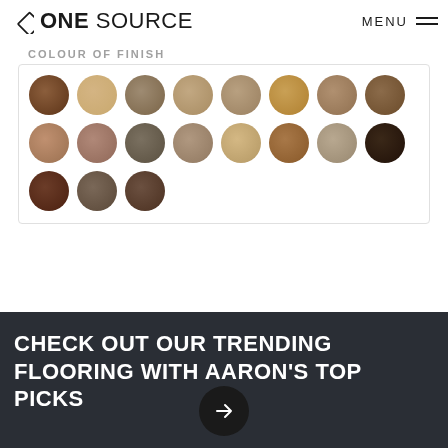ONE SOURCE — MENU
[Figure (other): Grid of 19 circular wood flooring colour swatches in various shades of brown, tan, and grey]
STYLE
Oak
BUDGET
CHECK OUT OUR TRENDING FLOORING WITH AARON'S TOP PICKS